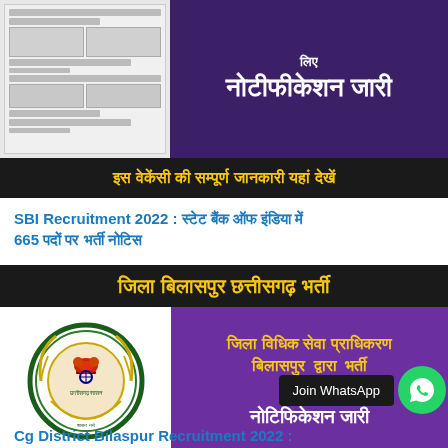[Figure (illustration): Top composite banner: left side shows a simulated government document/table image; right side is a purple banner with Hindi text 'नोटीफीकेशन जारी' (notification issued) in white bold text]
इस वेकेंसी की सम्पूर्ण जानकारी यहां देखें
SBI Recruitment 2022 : स्टेट बैंक ऑफ इंडिया में 665 पदों पर भर्ती नोटिस
[Figure (infographic): Bilaspur District Chhattisgarh Recruitment banner. Header: 'जिला बिलासपुर छत्तीसगढ़ भर्ती' in yellow on black. Body: left Chhattisgarh government logo; right purple panel with yellow text 'जिला विधिक सेवा प्राधिकरण बिलासपुर द्वारा भर्ती के लिए' and white text 'नोटिफिकेशन जारी'. Footer bar: 'जल्द करे आवेदन इसमें...']
Cg District Bilaspur Recruitment 2022 :